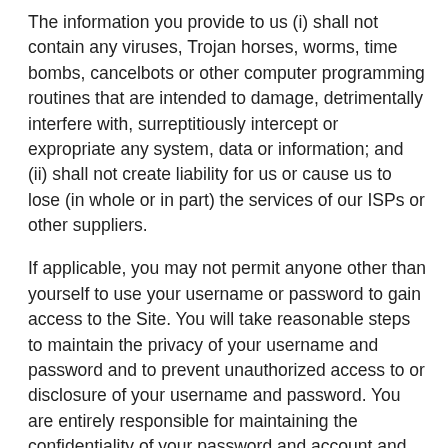The information you provide to us (i) shall not contain any viruses, Trojan horses, worms, time bombs, cancelbots or other computer programming routines that are intended to damage, detrimentally interfere with, surreptitiously intercept or expropriate any system, data or information; and (ii) shall not create liability for us or cause us to lose (in whole or in part) the services of our ISPs or other suppliers.
If applicable, you may not permit anyone other than yourself to use your username or password to gain access to the Site. You will take reasonable steps to maintain the privacy of your username and password and to prevent unauthorized access to or disclosure of your username and password. You are entirely responsible for maintaining the confidentiality of your password and account and for all activities that occur under your account.
In the event you gain access to information or material not intended to be accessed by you, you agree that you will immediately